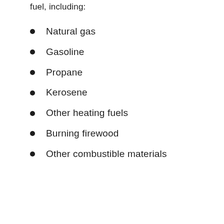fuel, including:
Natural gas
Gasoline
Propane
Kerosene
Other heating fuels
Burning firewood
Other combustible materials